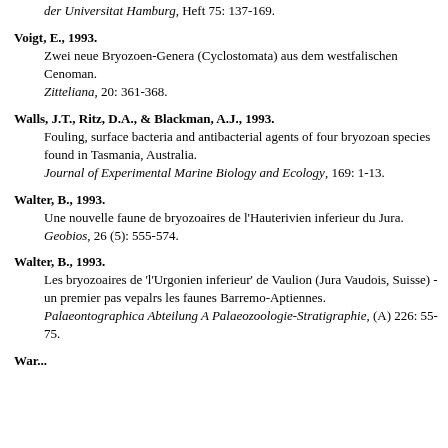der Universitat Hamburg, Heft 75: 137-169.
Voigt, E., 1993. Zwei neue Bryozoen-Genera (Cyclostomata) aus dem westfalischen Cenoman. Zitteliana, 20: 361-368.
Walls, J.T., Ritz, D.A., & Blackman, A.J., 1993. Fouling, surface bacteria and antibacterial agents of four bryozoan species found in Tasmania, Australia. Journal of Experimental Marine Biology and Ecology, 169: 1-13.
Walter, B., 1993. Une nouvelle faune de bryozoaires de l'Hauterivien inferieur du Jura. Geobios, 26 (5): 555-574.
Walter, B., 1993. Les bryozoaires de 'l'Urgonien inferieur' de Vaulion (Jura Vaudois, Suisse) - un premier pas vepalrs les faunes Barremo-Aptiennes. Palaeontographica Abteilung A Palaeozoologie-Stratigraphie, (A) 226: 55-75.
War...